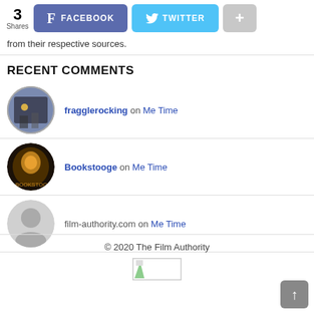[Figure (infographic): Social share bar showing 3 Shares, Facebook button, Twitter button, and plus button]
from their respective sources.
RECENT COMMENTS
fragglerocking on Me Time
Bookstooge on Me Time
film-authority.com on Me Time
© 2020 The Film Authority